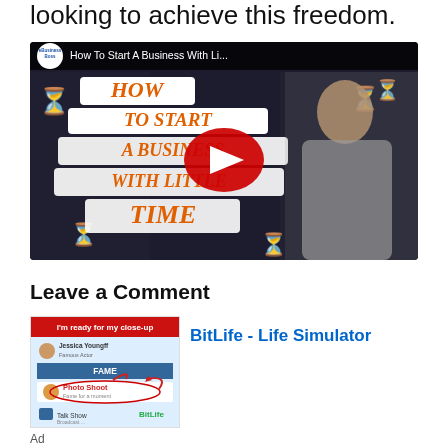looking to achieve this freedom.
[Figure (screenshot): YouTube video thumbnail for 'How To Start A Business With Li...' by eBusiness Boss, showing text 'HOW TO START A BUSINESS WITH LITTLE TIME' in orange on white background with hourglass emojis and a man pointing, with a YouTube play button overlay.]
Leave a Comment
[Figure (screenshot): Advertisement for BitLife - Life Simulator app showing a game screenshot with 'I'm ready for my close-up' header, FAME menu, Photo Shoot option circled in red, and Talk Show option.]
BitLife - Life Simulator
Ad